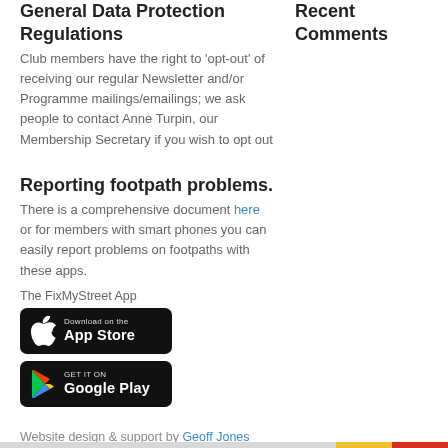General Data Protection Regulations
Club members have the right to 'opt-out' of receiving our regular Newsletter and/or Programme mailings/emailings; we ask people to contact Anne Turpin, our Membership Secretary if you wish to opt out
Reporting footpath problems.
There is a comprehensive document here or for members with smart phones you can easily report problems on footpaths with these apps.
The FixMyStreet App
[Figure (logo): Download on the App Store badge]
[Figure (logo): Get it on Google Play badge]
Website design & support by Geoff Jones
Cambridge Rambling Club
Recent Comments